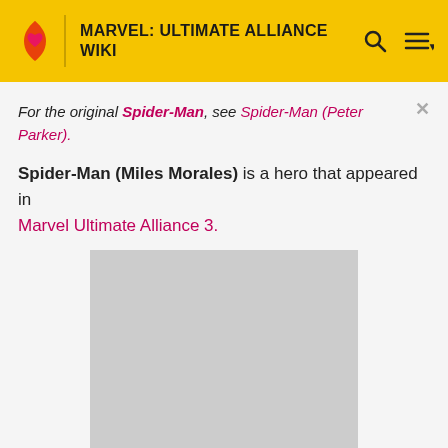MARVEL: ULTIMATE ALLIANCE WIKI
For the original Spider-Man, see Spider-Man (Peter Parker).
Spider-Man (Miles Morales) is a hero that appeared in Marvel Ultimate Alliance 3.
[Figure (photo): Gray placeholder image for Spider-Man (Miles Morales) character]